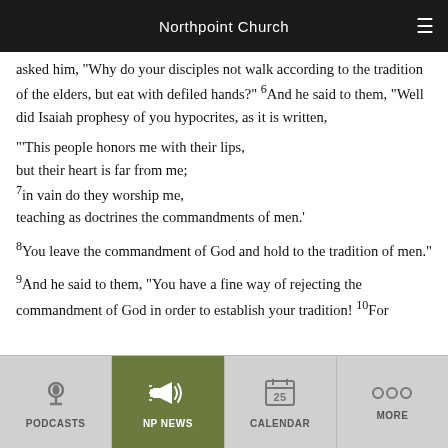Northpoint Church
asked him, "Why do your disciples not walk according to the tradition of the elders, but eat with defiled hands?" 6And he said to them, "Well did Isaiah prophesy of you hypocrites, as it is written,
"'This people honors me with their lips,
but their heart is far from me;
7in vain do they worship me,
teaching as doctrines the commandments of men.'
8You leave the commandment of God and hold to the tradition of men."
9And he said to them, "You have a fine way of rejecting the commandment of God in order to establish your tradition! 10For
PODCASTS | NP NEWS | CALENDAR | MORE